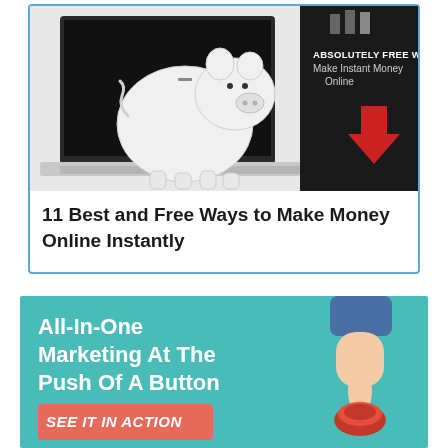[Figure (photo): Card with blue border containing a piggy bank on a laptop keyboard on the left, and on the right a dark banner with text 'ABSOLUTELY FREE WAYS TO Make Instant Money Online' with a red downward arrow below it.]
11 Best and Free Ways to Make Money Online Instantly
[Figure (photo): Teal/turquoise banner ad with bold white text 'All-In-One Marketing At The Push Of A Button' and a coral/salmon button with italic white text 'SEE IT IN ACTION'. On the right side is an illustrated hand pressing a red button.]